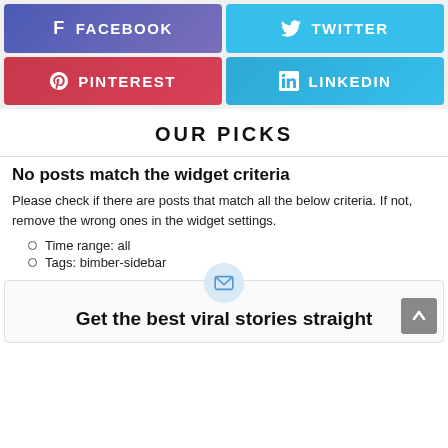[Figure (infographic): Social media share buttons: Facebook (purple-blue), Twitter (light blue), Pinterest (red), LinkedIn (teal-blue)]
OUR PICKS
No posts match the widget criteria
Please check if there are posts that match all the below criteria. If not, remove the wrong ones in the widget settings.
Time range: all
Tags: bimber-sidebar
[Figure (infographic): Email subscription section with envelope icon in a light blue circle and text 'Get the best viral stories straight']